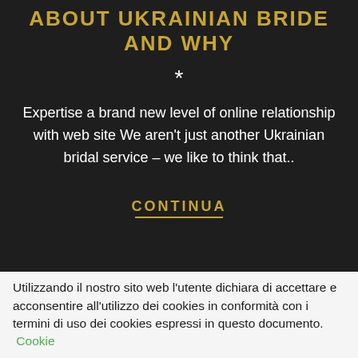ABOUT UKRAINIAN BRIDE AND WHY
*
Expertise a brand new level of online relationship with web site We aren't just another Ukrainian bridal service – we like to think that..
CONTINUA
28 • FEBBRAIO • 2020
Utilizzando il nostro sito web l'utente dichiara di accettare e acconsentire all'utilizzo dei cookies in conformità con i termini di uso dei cookies espressi in questo documento. Cookie